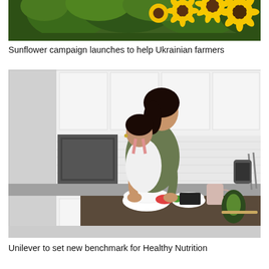[Figure (photo): Sunflowers and green foliage photographed from below, with yellow sunflower blooms visible against green leaves]
Sunflower campaign launches to help Ukrainian farmers
[Figure (photo): A woman and a young girl cooking together in a modern white kitchen, preparing food at a kitchen island with various ingredients including vegetables]
Unilever to set new benchmark for Healthy Nutrition